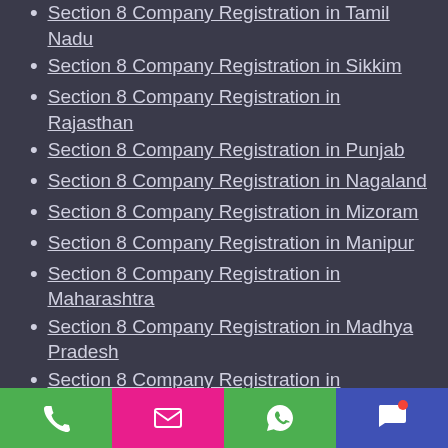Section 8 Company Registration in Tamil Nadu
Section 8 Company Registration in Sikkim
Section 8 Company Registration in Rajasthan
Section 8 Company Registration in Punjab
Section 8 Company Registration in Nagaland
Section 8 Company Registration in Mizoram
Section 8 Company Registration in Manipur
Section 8 Company Registration in Maharashtra
Section 8 Company Registration in Madhya Pradesh
Section 8 Company Registration in Lakshadweep
Section 8 Company Registration in Kerala
Section 8 Company Registration in Karnataka